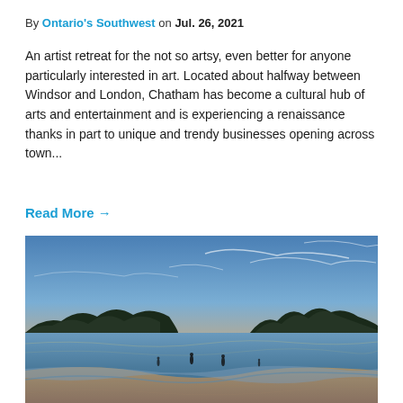By Ontario's Southwest on Jul. 26, 2021
An artist retreat for the not so artsy, even better for anyone particularly interested in art. Located about halfway between Windsor and London, Chatham has become a cultural hub of arts and entertainment and is experiencing a renaissance thanks in part to unique and trendy businesses opening across town...
Read More →
[Figure (photo): Sunset landscape photo of a beach/shoreline with people walking along the water's edge, trees silhouetted against an orange and blue sky at dusk.]